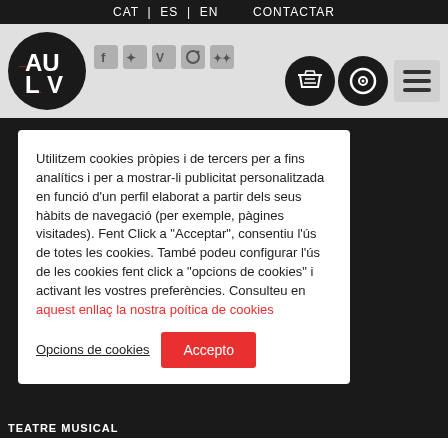CAT | ES | EN   CONTACTAR
[Figure (logo): AULA logo — black circle with white bold letters AU over LV, with small red accent marks]
[Figure (infographic): Social media icons: Facebook, Twitter, Vimeo, Instagram, Flickr]
[Figure (infographic): Navigation icons: basket (black circle), disc/CD (black circle), hamburger menu (grey box)]
Utilitzem cookies pròpies i de tercers per a fins analítics i per a mostrar-li publicitat personalitzada en funció d'un perfil elaborat a partir dels seus hàbits de navegació (per exemple, pàgines visitades). Fent Click a "Acceptar", consentiu l'ús de totes les cookies. També podeu configurar l'ús de les cookies fent click a "opcions de cookies" i activant les vostres preferències. Consulteu en aquest enllaç la nostra poítica de cookies
Opcions de cookies
Accepto
TEATRE MUSICAL